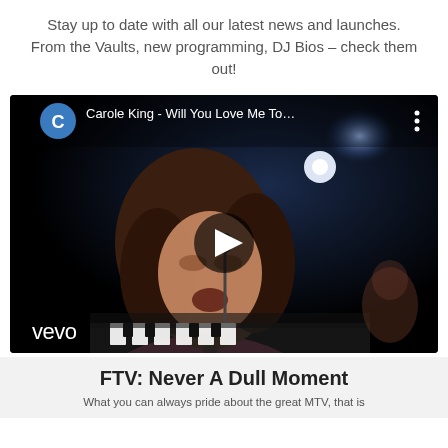Stay up to date with all our latest news and launches. From the Vaults, new programming, DJ Bios – check them out!
[Figure (screenshot): YouTube-style video embed showing Carole King - Will You Love Me To... with a woman singing at a piano, lit stage background, vevo watermark, and a circular play button overlay. Channel icon shows letter C on blue circle.]
FTV: Never A Dull Moment
What you can always pride about the great MTV, that is